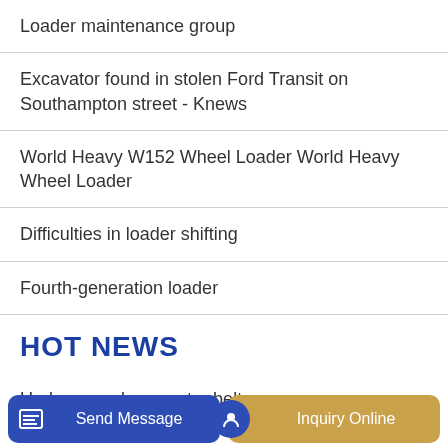Loader maintenance group
Excavator found in stolen Ford Transit on Southampton street - Knews
World Heavy W152 Wheel Loader World Heavy Wheel Loader
Difficulties in loader shifting
Fourth-generation loader
HOT NEWS
Underground excavator belt